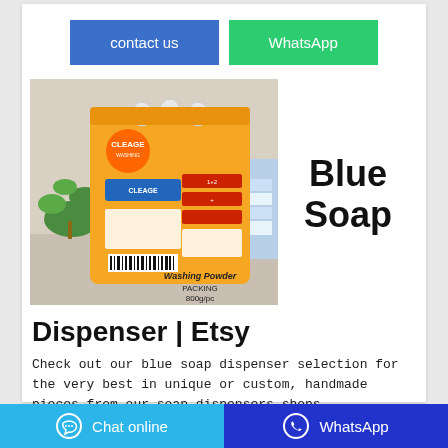[Figure (other): Contact us button (blue) and WhatsApp button (green)]
[Figure (photo): Orange washing powder bag (Cleage brand) product photo with plant on left side and stacked towels on right. Text overlay: 'Washing Powder PACKING 800g/pc']
Blue Soap
Dispenser | Etsy
Check out our blue soap dispenser selection for the very best in unique or custom, handmade pieces from our soap dispensers shops.
Chat online  |  WhatsApp